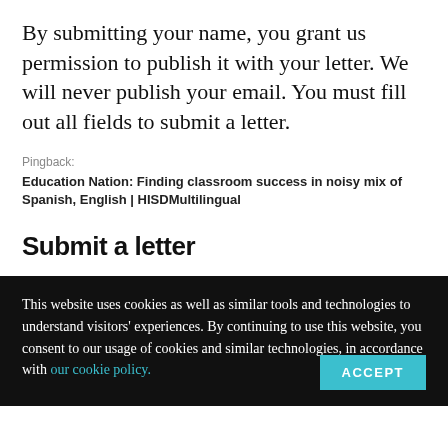By submitting your name, you grant us permission to publish it with your letter. We will never publish your email. You must fill out all fields to submit a letter.
Pingback:
Education Nation: Finding classroom success in noisy mix of Spanish, English | HISDMultilingual
Submit a letter
This website uses cookies as well as similar tools and technologies to understand visitors' experiences. By continuing to use this website, you consent to our usage of cookies and similar technologies, in accordance with our cookie policy.